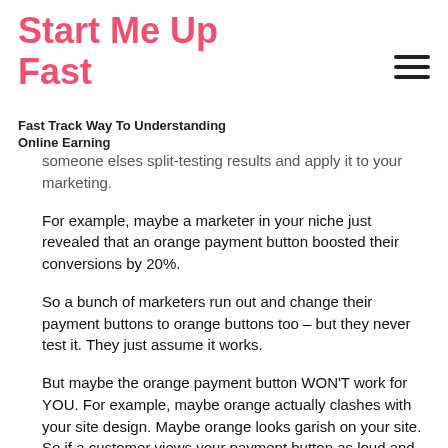Start Me Up Fast
Fast Track Way To Understanding Online Earning
someone elses split-testing results and apply it to your marketing.
For example, maybe a marketer in your niche just revealed that an orange payment button boosted their conversions by 20%.
So a bunch of marketers run out and change their payment buttons to orange buttons too – but they never test it. They just assume it works.
But maybe the orange payment button WON'T work for YOU. For example, maybe orange actually clashes with your site design. Maybe orange looks garish on your site. So if a customer views your payment button as loud and garish, they might just hit the back button rather than hitting the payment button.
The only way to know for sure is to do your own split testing. Sure, you can use other peoples' test results to get ideas of